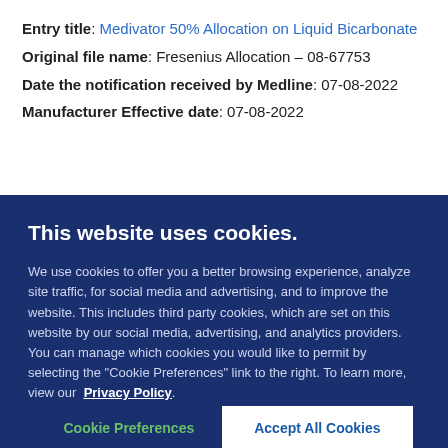Entry title: Medivator 50% Allocation on Liquid Bicarbonate
Original file name: Fresenius Allocation – 08-67753
Date the notification received by Medline: 07-08-2022
Manufacturer Effective date: 07-08-2022
This website uses cookies.
We use cookies to offer you a better browsing experience, analyze site traffic, for social media and advertising, and to improve the website. This includes third party cookies, which are set on this website by our social media, advertising, and analytics providers. You can manage which cookies you would like to permit by selecting the "Cookie Preferences" link to the right. To learn more, view our Privacy Policy.
Cookie Preferences
Accept All Cookies